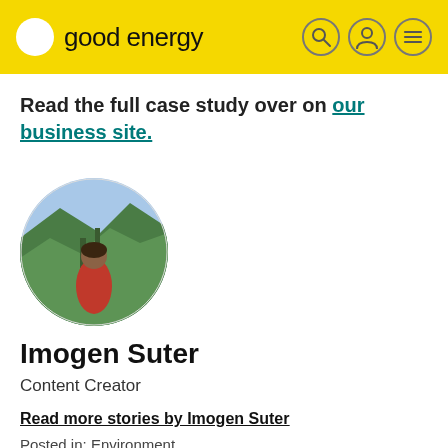good energy
Read the full case study over on our business site.
[Figure (photo): Circular profile photo of Imogen Suter standing outdoors with green mountain landscape in background]
Imogen Suter
Content Creator
Read more stories by Imogen Suter
Posted in: Environment